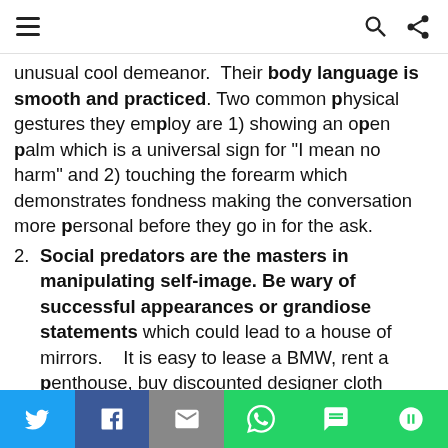(navigation bar with menu, search, share icons)
unusual cool demeanor.  Their body language is smooth and practiced. Two common physical gestures they employ are 1) showing an open palm which is a universal sign for "I mean no harm" and 2) touching the forearm which demonstrates fondness making the conversation more personal before they go in for the ask.
2. Social predators are the masters in manipulating self-image. Be wary of successful appearances or grandiose statements which could lead to a house of mirrors.    It is easy to lease a BMW, rent a penthouse, buy discounted designer cloth
Social share bar: Twitter, Facebook, Email, WhatsApp, SMS, More